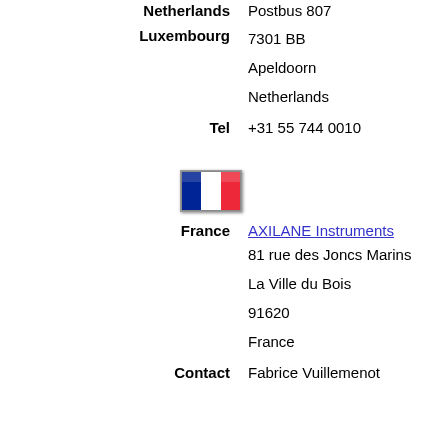Netherlands   Postbus 807
Luxembourg   7301 BB
Apeldoorn
Netherlands
Tel   +31 55 744 0010
[Figure (illustration): French flag icon - small rectangular flag with blue, white, and red vertical stripes]
France   AXILANE Instruments
81 rue des Joncs Marins
La Ville du Bois
91620
France
Contact   Fabrice Vuillemenot